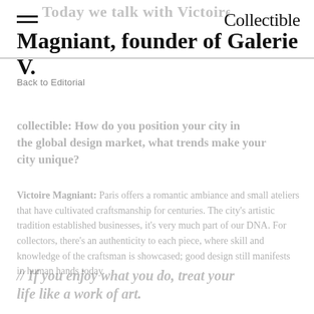Collectible
Magniant, founder of Galerie V.
Back to Editorial
collectible: How do you position your city in the global design market, what trends make your city unique?
Victoire Magniant: Paris offers a romantic ambiance and small ateliers that have cultivated craftsmanship for centuries. The city's artistic tradition established businesses, it's very much part of our DNA. For collectors, there's an authenticity to each piece, where skill and knowledge of the craftsman is showcased; good design still manifests in human hands today.
// If you enjoy what you do, treat your life like a work of art.